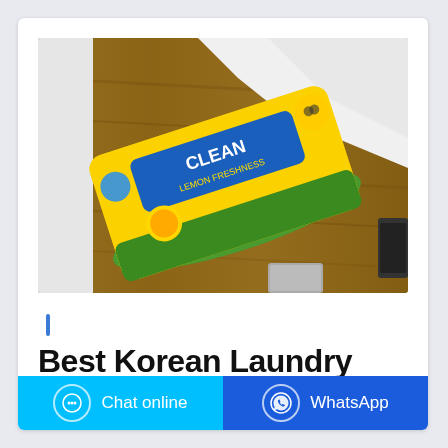[Figure (photo): A yellow bag of laundry detergent powder (lemon fragrance, brand appears to be 'CLEAN' or similar) lying on a wooden table/desk. Some white fabric visible in the background, and a small device visible at the bottom right.]
Best Korean Laundry
Chat online
WhatsApp